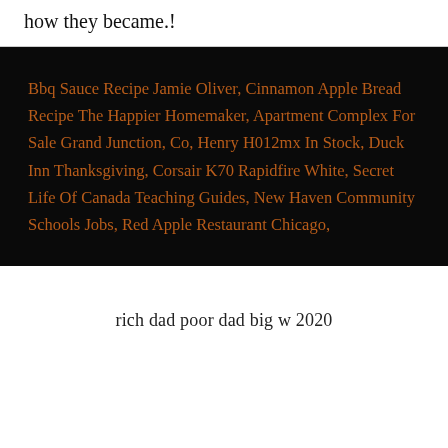how they became.!
Bbq Sauce Recipe Jamie Oliver, Cinnamon Apple Bread Recipe The Happier Homemaker, Apartment Complex For Sale Grand Junction, Co, Henry H012mx In Stock, Duck Inn Thanksgiving, Corsair K70 Rapidfire White, Secret Life Of Canada Teaching Guides, New Haven Community Schools Jobs, Red Apple Restaurant Chicago,
rich dad poor dad big w 2020